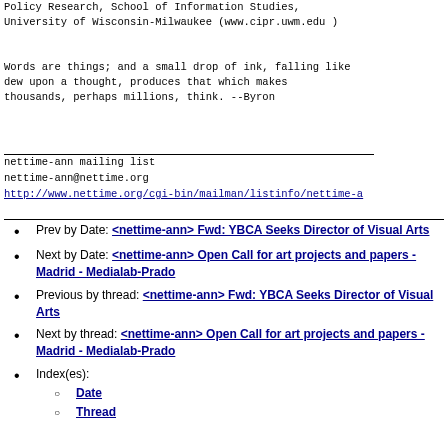Policy Research, School of Information Studies,
University of Wisconsin-Milwaukee (www.cipr.uwm.edu )
Words are things; and a small drop of ink, falling like
dew upon a thought, produces that which makes
thousands, perhaps millions, think. --Byron
nettime-ann mailing list
nettime-ann@nettime.org
http://www.nettime.org/cgi-bin/mailman/listinfo/nettime-a
Prev by Date: <nettime-ann> Fwd: YBCA Seeks Director of Visual Arts
Next by Date: <nettime-ann> Open Call for art projects and papers - Madrid - Medialab-Prado
Previous by thread: <nettime-ann> Fwd: YBCA Seeks Director of Visual Arts
Next by thread: <nettime-ann> Open Call for art projects and papers - Madrid - Medialab-Prado
Index(es): Date, Thread